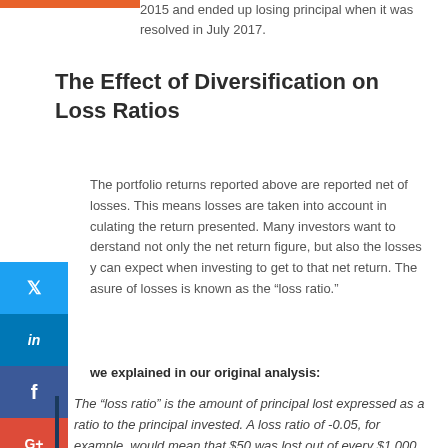2015 and ended up losing principal when it was resolved in July 2017.
The Effect of Diversification on Loss Ratios
The portfolio returns reported above are reported net of losses. This means losses are taken into account in calculating the return presented. Many investors want to understand not only the net return figure, but also the losses they can expect when investing to get to that net return. The measure of losses is known as the “loss ratio.”
As we explained in our original analysis:
The “loss ratio” is the amount of principal lost expressed as a ratio to the principal invested. A loss ratio of -0.05, for example, would mean that $50 was lost out of every $1,000 invested. Similar to the rate of return chart, the